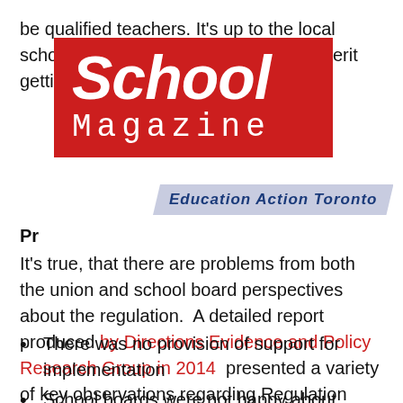be qualified teachers. It's up to the local school boards to decide whether they merit getting on the...
[Figure (logo): School Magazine logo: red background with 'School' in large white italic bold text and 'Magazine' in white spaced serif text below]
[Figure (logo): Education Action Toronto banner in italic bold dark blue text on grey/blue parallelogram background]
Pr...
It's true, that there are problems from both the union and school board perspectives about the regulation.  A detailed report produced by Directions Evidence and Policy Research Group in 2014  presented a variety of key observations regarding Regulation 274. Here are some of them:
There was no provision of support for implementation
School boards were not happy about losing their